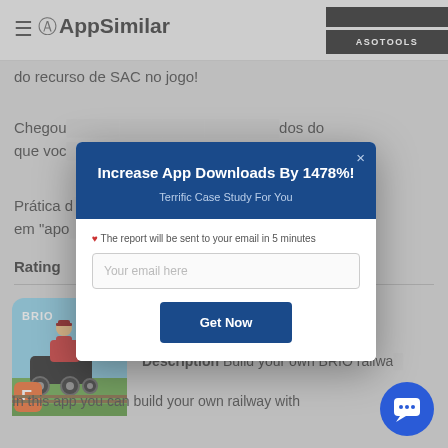≡ AppSimilar | ASOTOOLS
do recurso de SAC no jogo!
Chegou... dos do que voc...
Prática d... futuro em "apo...
Rating
[Figure (screenshot): BRIO railway app icon showing a toy train conductor character on a train with BRIO branding and an orange F badge]
Price  $2.99
Description  Build your own BRIO railwa...
In this app you can build your own railway with
[Figure (screenshot): Modal popup dialog with dark blue header reading 'Increase App Downloads By 1478%!' and subtitle 'Terrific Case Study For You', email input field with placeholder 'Your email here', and a 'Get Now' button. Has an X close button in top right.]